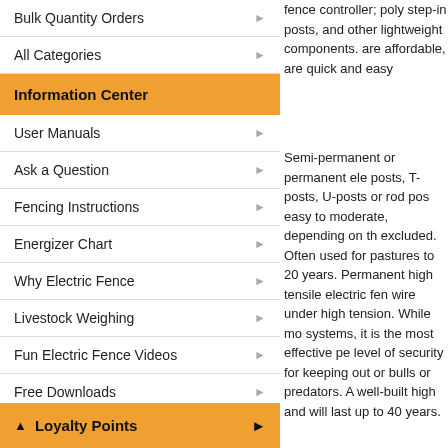Bulk Quantity Orders
All Categories
Information Center
User Manuals
Ask a Question
Fencing Instructions
Energizer Chart
Why Electric Fence
Livestock Weighing
Fun Electric Fence Videos
Free Downloads
Electric Fencing News Blog
Resource Page
Food Plot Fencing
Loyalty Points
fence controller; poly step-in posts, and other lightweight components. are affordable, are quick and easy
Semi-permanent or permanent ele posts, T-posts, U-posts or rod pos easy to moderate, depending on th excluded. Often used for pastures to 20 years. Permanent high tensile electric fen wire under high tension. While mo systems, it is the most effective pe level of security for keeping out or bulls or predators. A well-built high and will last up to 40 years.
Why is electric fencing a cost effe Electric fencing typically costs less addition, animals are less apt to da electrified wire more than once. Ch pay dividends later with fewer mai A more powerful fence controller, m